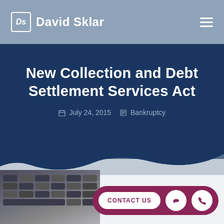David Sklar
New Collection and Debt Settlement Services Act
July 24, 2015  Bankruptcy
[Figure (photo): Keyboard and financial documents in background]
CONTACT US